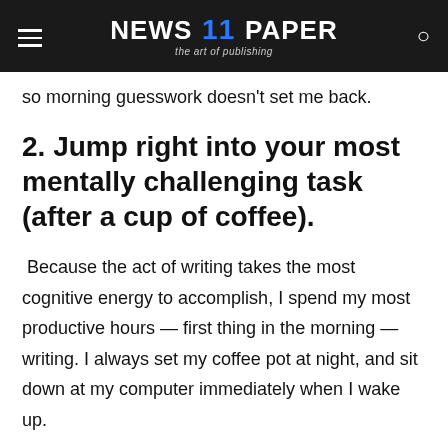NEWS 11 PAPER — the art of publishing
so morning guesswork doesn't set me back.
2. Jump right into your most mentally challenging task (after a cup of coffee).
Because the act of writing takes the most cognitive energy to accomplish, I spend my most productive hours — first thing in the morning — writing. I always set my coffee pot at night, and sit down at my computer immediately when I wake up.